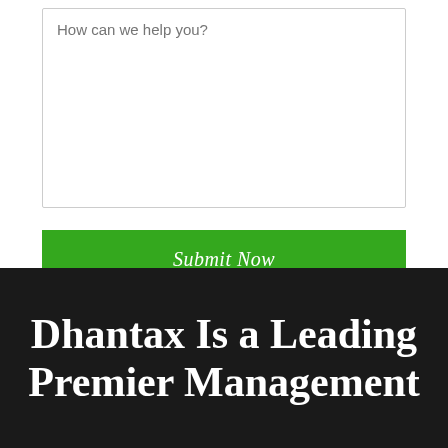[Figure (screenshot): A form textarea with placeholder text 'How can we help you?' with a light grey border and resize handle in the bottom-right corner.]
[Figure (screenshot): A bright green button labeled 'Submit Now' in white italic text.]
Dhantax Is a Leading Premier Management